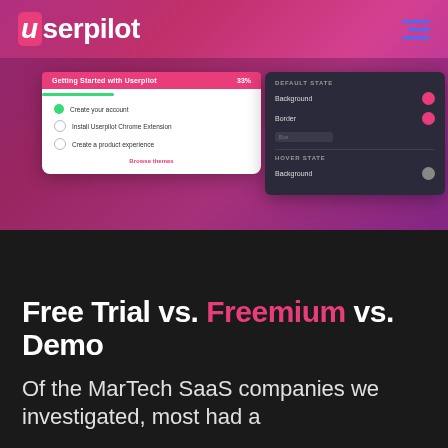userpilot
[Figure (screenshot): Userpilot app interface screenshot showing a checklist card 'Getting Started with Userpilot' with items: Create your account (checked), Install Userpilot Chrome Extension, Create a product experience; and a settings panel showing DEFAULT STATE with Background (red dot) and Border (red dot) fields, and HOVER STATE with Background field, all on a pink/purple gradient background.]
Free Trial vs. Freemium vs. Demo
Of the MarTech SaaS companies we investigated, most had a